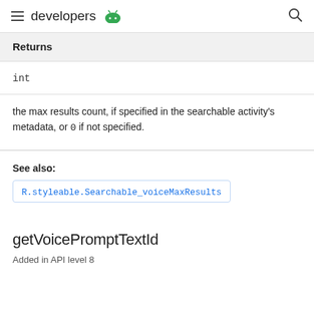developers
| Returns |
| --- |
| int |
the max results count, if specified in the searchable activity's metadata, or 0 if not specified.
See also:
R.styleable.Searchable_voiceMaxResults
getVoicePromptTextId